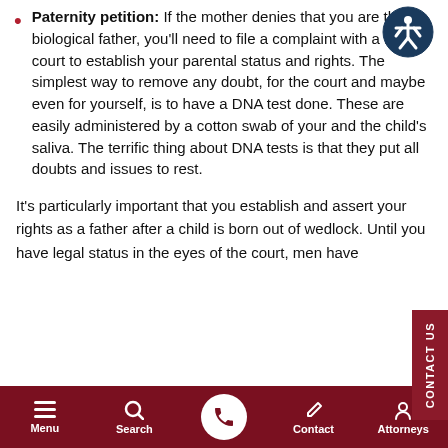Paternity petition: If the mother denies that you are the biological father, you'll need to file a complaint with a family court to establish your parental status and rights. The simplest way to remove any doubt, for the court and maybe even for yourself, is to have a DNA test done. These are easily administered by a cotton swab of your and the child's saliva. The terrific thing about DNA tests is that they put all doubts and issues to rest.
It's particularly important that you establish and assert your rights as a father after a child is born out of wedlock. Until you have legal status in the eyes of the court, men have
Menu | Search | Contact | Attorneys